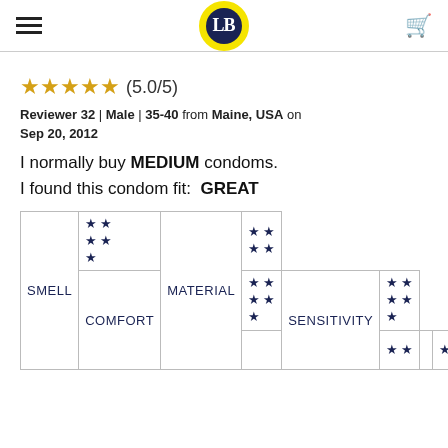LB logo, hamburger menu, cart icon
★★★★★ (5.0/5)
Reviewer 32 | Male | 35-40 from Maine, USA on Sep 20, 2012
I normally buy MEDIUM condoms. I found this condom fit: GREAT
| Category | Rating | Category | Rating |
| --- | --- | --- | --- |
| SMELL | ★★★★★ (5) | MATERIAL | ★★★★ (4) |
| COMFORT | ★★★★★ (5) | SENSITIVITY | ★★★★★ (5) |
|  | ★★ |  | ★★ |